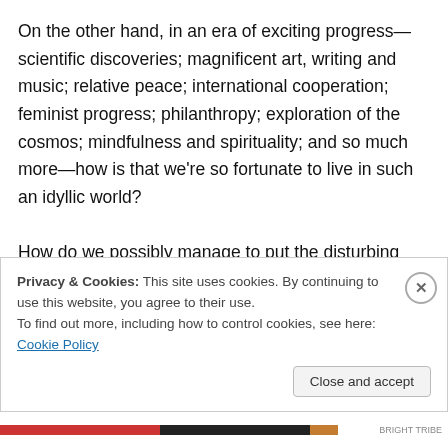On the other hand, in an era of exciting progress—scientific discoveries; magnificent art, writing and music; relative peace; international cooperation; feminist progress; philanthropy; exploration of the cosmos; mindfulness and spirituality; and so much more—how is that we're so fortunate to live in such an idyllic world?

How do we possibly manage to put the disturbing negatives of our lives into some perspective which enables us also to recognize love, laughter, tears, play, creativity, productivity, pleasure and resilience?
Privacy & Cookies: This site uses cookies. By continuing to use this website, you agree to their use.
To find out more, including how to control cookies, see here: Cookie Policy
Close and accept